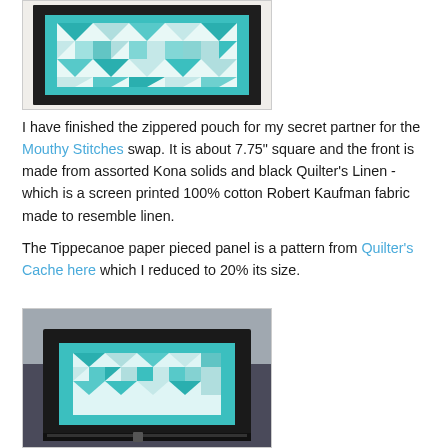[Figure (photo): Zippered pouch with teal and white geometric quilt panel on black fabric, front view]
I have finished the zippered pouch for my secret partner for the Mouthy Stitches swap. It is about 7.75" square and the front is made from assorted Kona solids and black Quilter's Linen - which is a screen printed 100% cotton Robert Kaufman fabric made to resemble linen.
The Tippecanoe paper pieced panel is a pattern from Quilter's Cache here which I reduced to 20% its size.
[Figure (photo): Zippered pouch with teal geometric quilt panel on black fabric, angled view showing zipper]